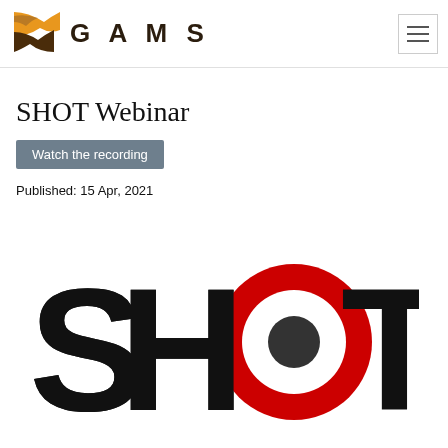[Figure (logo): GAMS logo with orange and brown geometric shapes and GAMS text in bold spaced letters]
SHOT Webinar
Watch the recording
Published: 15 Apr, 2021
[Figure (logo): SHOT logo with bold black letters S, H, T and the O replaced by a red bullseye/target circle with a dark grey center dot]